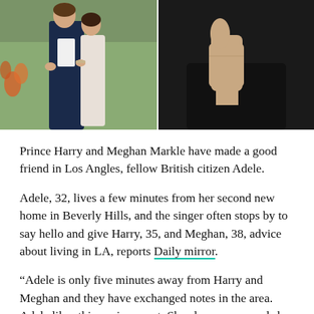[Figure (photo): Two side-by-side photos: left photo shows a couple (Prince Harry and Meghan Markle) outdoors with greenery; right photo shows a person giving a thumbs up against a dark background.]
Prince Harry and Meghan Markle have made a good friend in Los Angles, fellow British citizen Adele.
Adele, 32, lives a few minutes from her second new home in Beverly Hills, and the singer often stops by to say hello and give Harry, 35, and Meghan, 38, advice about living in LA, reports Daily mirror.
“Adele is only five minutes away from Harry and Meghan and they have exchanged notes in the area. Adele likes this environment. She also recommends her four-year-old son, Angelo’s pre-school school and secret places to bring Archie to where they won’t be bombarded by fans,